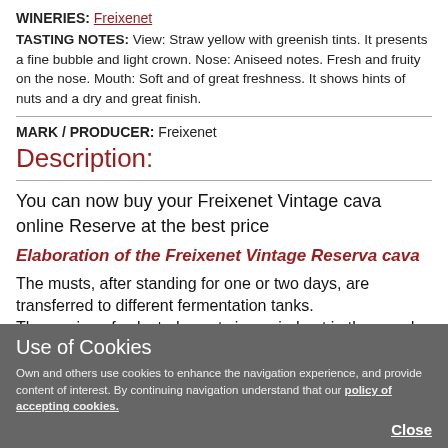WINERIES: Freixenet
TASTING NOTES: View: Straw yellow with greenish tints. It presents a fine bubble and light crown. Nose: Aniseed notes. Fresh and fruity on the nose. Mouth: Soft and of great freshness. It shows hints of nuts and a dry and great finish.
MARK / PRODUCER: Freixenet
Description:
You can now buy your Freixenet Vintage cava online Reserve at the best price
Elaboration of the Freixenet Vintage Reserva cava
The musts, after standing for one or two days, are transferred to different fermentation tanks.
The sowing of selected yeasts is carried out in them and then a first fermentation is carried out in stainless steel tanks at a controlled temperature of 12° for between 10 and
Use of Cookies
Own and others use cookies to enhance the navigation experience, and provide content of interest. By continuing navigation understand that our policy of accepting cookies.
Close